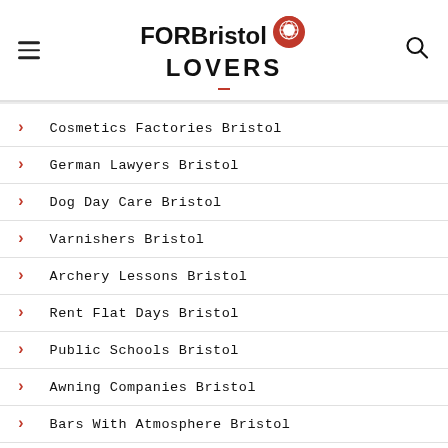FOR Bristol LOVERS
Cosmetics Factories Bristol
German Lawyers Bristol
Dog Day Care Bristol
Varnishers Bristol
Archery Lessons Bristol
Rent Flat Days Bristol
Public Schools Bristol
Awning Companies Bristol
Bars With Atmosphere Bristol
C Sharp Programming Specialists Bristol